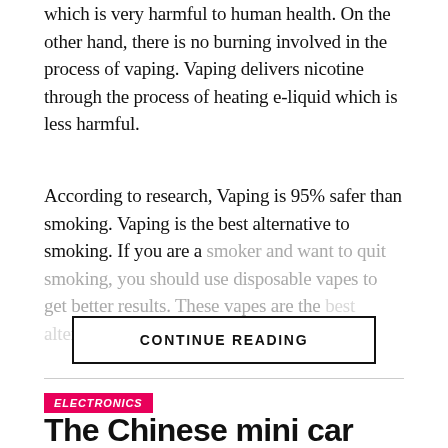which is very harmful to human health. On the other hand, there is no burning involved in the process of vaping. Vaping delivers nicotine through the process of heating e-liquid which is less harmful.
According to research, Vaping is 95% safer than smoking. Vaping is the best alternative to smoking. If you are a smoker and want to quit smoking, you should use disposable vapes to get better results. These vapes are the [faded/obscured text]
CONTINUE READING
ELECTRONICS
The Chinese mini car that costs less